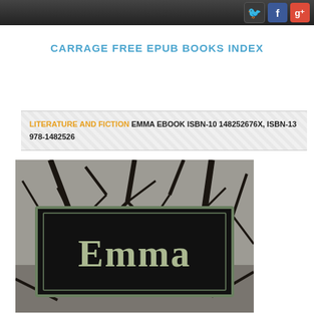Navigation bar with Twitter, Facebook, Google+ icons
CARRAGE FREE EPUB BOOKS INDEX
LITERATURE AND FICTION EMMA EBOOK ISBN-10 148252676X, ISBN-13 978-1482526
[Figure (photo): Book cover image for Emma with dark background, tree branches in background, and 'Emma' text in serif font on black panel with green border]